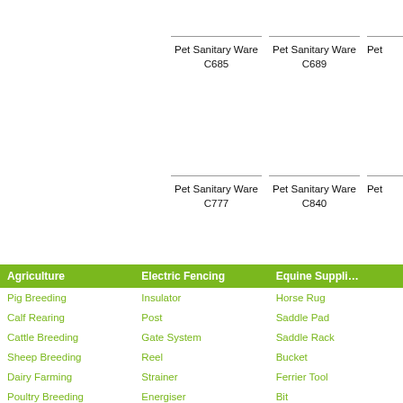Pet Sanitary Ware C685
Pet Sanitary Ware C689
Pet
Pet Sanitary Ware C777
Pet Sanitary Ware C840
Pet
| Agriculture | Electric Fencing | Equine Suppli… |
| --- | --- | --- |
| Pig Breeding | Insulator | Horse Rug |
| Calf Rearing | Post | Saddle Pad |
| Cattle Breeding | Gate System | Saddle Rack |
| Sheep Breeding | Reel | Bucket |
| Dairy Farming | Strainer | Ferrier Tool |
| Poultry Breeding | Energiser | Bit |